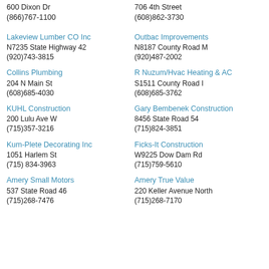600 Dixon Dr
(866)767-1100
706 4th Street
(608)862-3730
Lakeview Lumber CO Inc
N7235 State Highway 42
(920)743-3815
Outbac Improvements
N8187 County Road M
(920)487-2002
Collins Plumbing
204 N Main St
(608)685-4030
R Nuzum/Hvac Heating & AC
S1511 County Road I
(608)685-3762
KUHL Construction
200 Lulu Ave W
(715)357-3216
Gary Bembenek Construction
8456 State Road 54
(715)824-3851
Kum-Plete Decorating Inc
1051 Harlem St
(715) 834-3963
Ficks-It Construction
W9225 Dow Dam Rd
(715)759-5610
Amery Small Motors
537 State Road 46
(715)268-7476
Amery True Value
220 Keller Avenue North
(715)268-7170